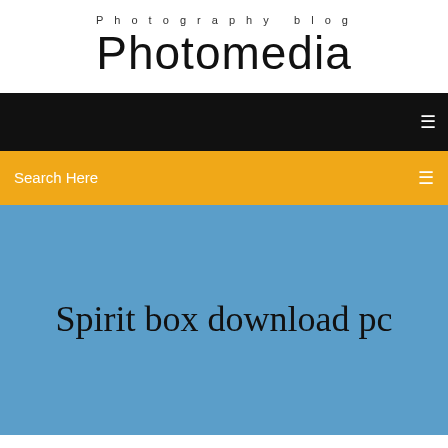Photography blog
Photomedia
[Figure (other): Black navigation bar with white menu icon on the right]
[Figure (other): Yellow/amber search bar with 'Search Here' text on left and search icon on right]
Spirit box download pc